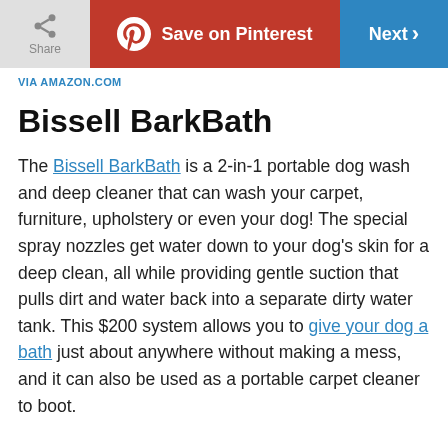Share | Save on Pinterest | Next
VIA AMAZON.COM
Bissell BarkBath
The Bissell BarkBath is a 2-in-1 portable dog wash and deep cleaner that can wash your carpet, furniture, upholstery or even your dog! The special spray nozzles get water down to your dog's skin for a deep clean, all while providing gentle suction that pulls dirt and water back into a separate dirty water tank. This $200 system allows you to give your dog a bath just about anywhere without making a mess, and it can also be used as a portable carpet cleaner to boot.